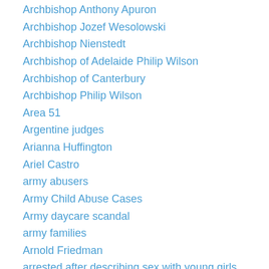Archbishop Anthony Apuron
Archbishop Jozef Wesolowski
Archbishop Nienstedt
Archbishop of Adelaide Philip Wilson
Archbishop of Canterbury
Archbishop Philip Wilson
Area 51
Argentine judges
Arianna Huffington
Ariel Castro
army abusers
Army Child Abuse Cases
Army daycare scandal
army families
Arnold Friedman
arrested after describing sex with young girls
Artichoke
Articles by Neil Brick
Ashley Judd
Asian grooming gang